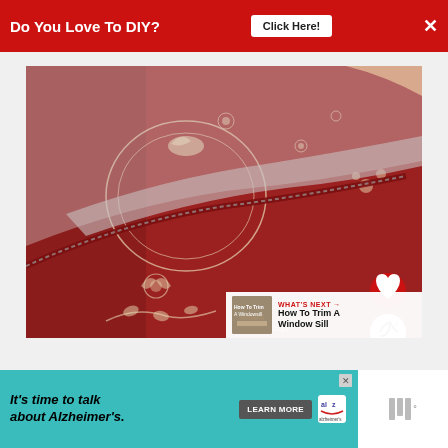Do You Love To DIY? Click Here!
[Figure (photo): A red floral patterned fabric bag or pillow with a zipper being opened, showing the interior. The fabric features cream/white floral and bird designs on a deep red background. A hand is visible holding the zipper open.]
[Figure (photo): What's Next thumbnail: How To Trim A Window Sill]
WHAT'S NEXT → How To Trim A Window Sill
[Figure (other): Advertisement: It's time to talk about Alzheimer's. LEARN MORE - Alzheimer's Association]